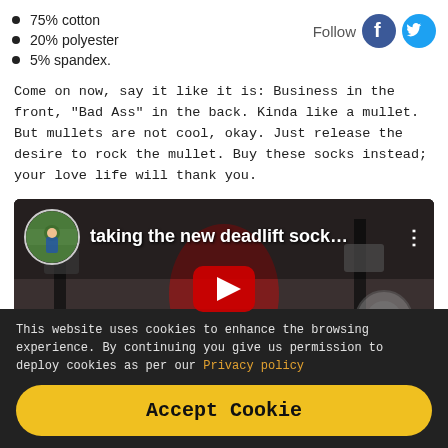75% cotton
20% polyester
5% spandex.
[Figure (other): Follow icons for Facebook and Twitter social media]
Come on now, say it like it is: Business in the front, “Bad Ass” in the back. Kinda like a mullet. But mullets are not cool, okay. Just release the desire to rock the mullet. Buy these socks instead; your love life will thank you.
[Figure (other): YouTube video thumbnail showing gym/deadlift scene with title: taking the new deadlift sock...]
This website uses cookies to enhance the browsing experience. By continuing you give us permission to deploy cookies as per our Privacy policy
Accept Cookie